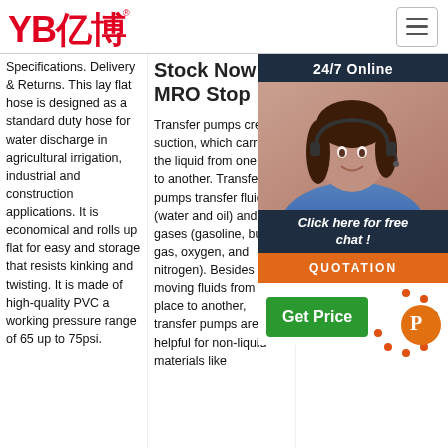YB亿博® [logo]
Specifications. Delivery & Returns. This lay flat hose is designed as a standard duty hose for water discharge in agricultural irrigation, industrial and construction applications. It is economical and rolls up flat for easy and storage that resists kinking and twisting. It is made of high-quality PVC a working pressure range of 65 up to 75psi.
Stock Now! - MRO Stop
Transfer pumps create suction, which carries the liquid from one point to another. Transfer pumps transfer fluids (water and oil) and gases (gasoline, butane gas, oxygen, and nitrogen). Besides moving fluids from one place to another, transfer pumps are also helpful for non-liquid materials like
Connectors + Fitt
202... 5u2... 65 b... Nor... Equ... a va... bra... Fitti... Nor... Nor... Apa... product experts.
[Figure (photo): Customer service agent woman wearing headset, smiling, with 24/7 Online banner overlay and chat/quotation UI]
24/7 Online
Click here for free chat !
QUOTATION
Get Price